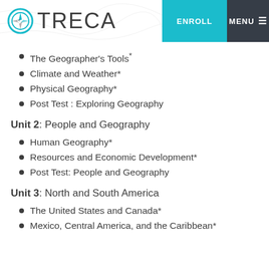OTRECA | ENROLL | MENU
The Geographer's Tools*
Climate and Weather*
Physical Geography*
Post Test : Exploring Geography
Unit 2: People and Geography
Human Geography*
Resources and Economic Development*
Post Test: People and Geography
Unit 3: North and South America
The United States and Canada*
Mexico, Central America, and the Caribbean*